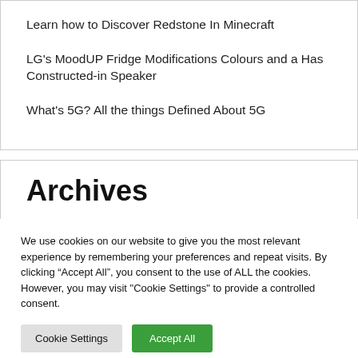Learn how to Discover Redstone In Minecraft
LG's MoodUP Fridge Modifications Colours and a Has Constructed-in Speaker
What's 5G? All the things Defined About 5G
Archives
We use cookies on our website to give you the most relevant experience by remembering your preferences and repeat visits. By clicking “Accept All”, you consent to the use of ALL the cookies. However, you may visit "Cookie Settings" to provide a controlled consent.
Cookie Settings | Accept All